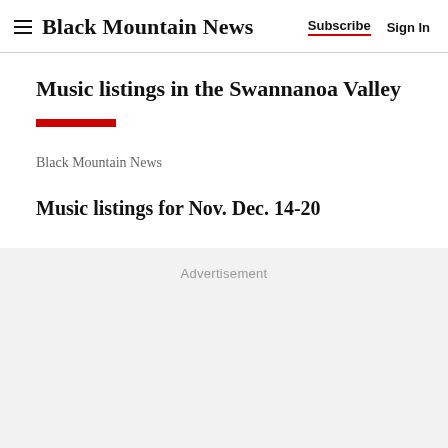Black Mountain News | Subscribe | Sign In
Music listings in the Swannanoa Valley
Black Mountain News
Music listings for Nov. Dec. 14-20
Advertisement